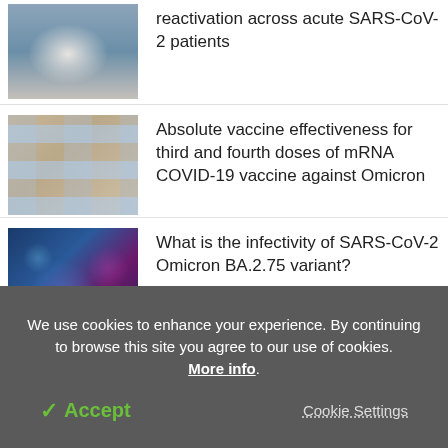[Figure (photo): Hospital ICU scene with medical staff and patient]
reactivation across acute SARS-CoV-2 patients
[Figure (photo): Rows of COVID-19 vaccine vials with blue caps in storage trays]
Absolute vaccine effectiveness for third and fourth doses of mRNA COVID-19 vaccine against Omicron
[Figure (photo): Microscopic illustration of SARS-CoV-2 virus particles, blue and purple on dark background]
What is the infectivity of SARS-CoV-2 Omicron BA.2.75 variant?
We use cookies to enhance your experience. By continuing to browse this site you agree to our use of cookies. More info.